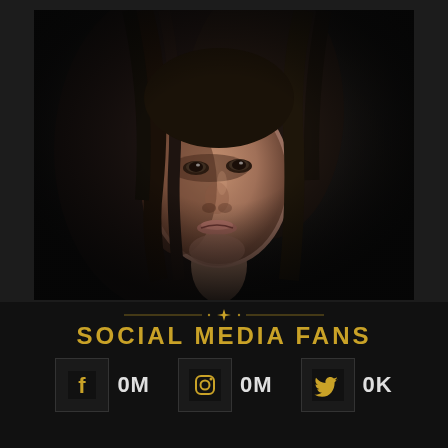[Figure (photo): Dark portrait photo of a young woman with long dark hair against a very dark background, lit dramatically from the side.]
SOCIAL MEDIA FANS
f 0M
Instagram 0M
Twitter 0K